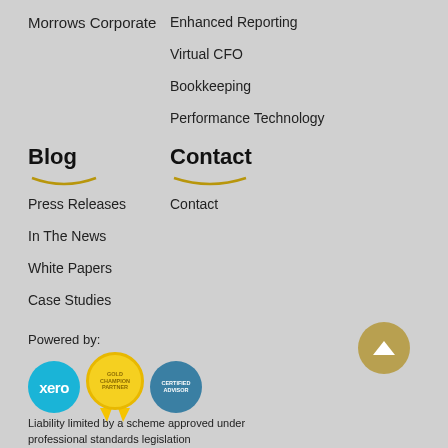Morrows Corporate
Enhanced Reporting
Virtual CFO
Bookkeeping
Performance Technology
Blog
Contact
Press Releases
Contact
In The News
White Papers
Case Studies
Powered by:
[Figure (logo): Xero logo circle (blue), Gold Champion Partner badge (yellow circle with ribbon), Certified Advisor circle (teal)]
Liability limited by a scheme approved under professional standards legislation
A member of
[Figure (logo): MSI Global Alliance logo - black oval with msi text and Global Alliance text]
[Figure (other): Gold circular scroll-to-top button with upward chevron arrow]